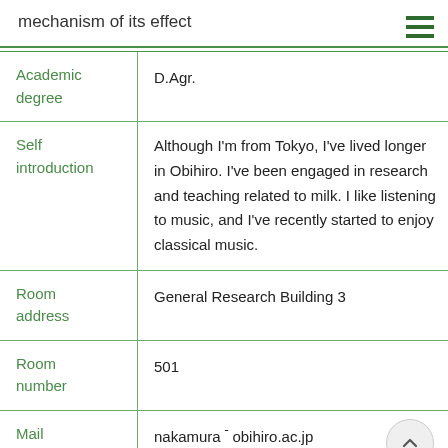mechanism of its effect
| Field | Value |
| --- | --- |
| Academic degree | D.Agr. |
| Self introduction | Although I'm from Tokyo, I've lived longer in Obihiro. I've been engaged in research and teaching related to milk. I like listening to music, and I've recently started to enjoy classical music. |
| Room address | General Research Building 3 |
| Room number | 501 |
| Mail address | nakamura ¯ obihiro.ac.jp |